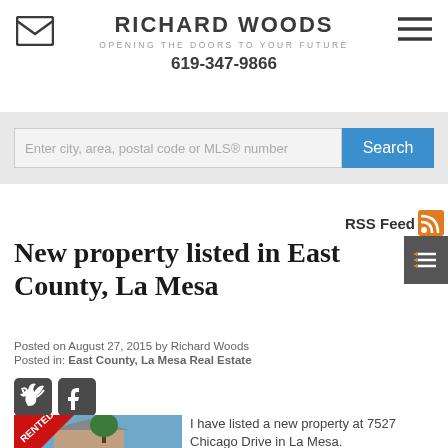RICHARD WOODS
OPENING THE DOORS TO YOUR FUTURE
619-347-9866
[Figure (screenshot): Search bar with input field placeholder 'Enter city, area, postal code or MLS® number' and blue Search button]
RSS Feed
New property listed in East County, La Mesa
Posted on August 27, 2015 by Richard Woods
Posted in: East County, La Mesa Real Estate
[Figure (photo): House photo with red RENTED banner diagonal across corner]
I have listed a new property at 7527 Chicago Drive in La Mesa.
See details here